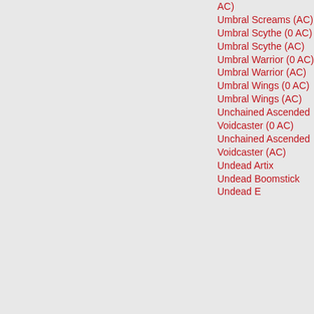AC)
Umbral Screams (AC)
Umbral Scythe (0 AC)
Umbral Scythe (AC)
Umbral Warrior (0 AC)
Umbral Warrior (AC)
Umbral Wings (0 AC)
Umbral Wings (AC)
Unchained Ascended Voidcaster (0 AC)
Unchained Ascended Voidcaster (AC)
Undead Artix
Undead Boomstick
Undead E...